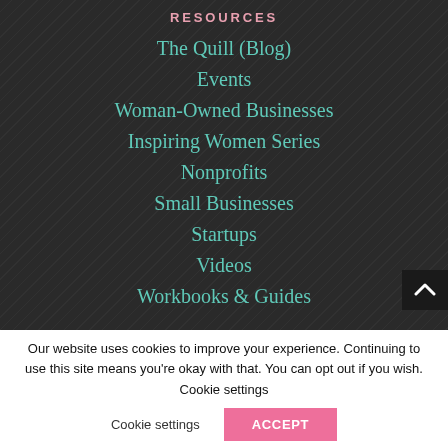RESOURCES
The Quill (Blog)
Events
Woman-Owned Businesses
Inspiring Women Series
Nonprofits
Small Businesses
Startups
Videos
Workbooks & Guides
Our website uses cookies to improve your experience. Continuing to use this site means you're okay with that. You can opt out if you wish. Cookie settings ACCEPT